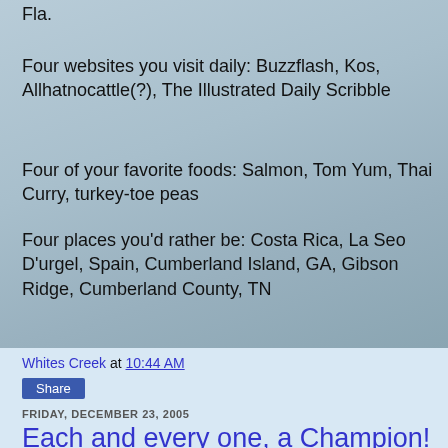Fla.
Four websites you visit daily: Buzzflash, Kos, Allhatnocattle(?), The Illustrated Daily Scribble
Four of your favorite foods: Salmon, Tom Yum, Thai Curry, turkey-toe peas
Four places you'd rather be: Costa Rica, La Seo D'urgel, Spain, Cumberland Island, GA, Gibson Ridge, Cumberland County, TN
Whites Creek at 10:44 AM
Share
FRIDAY, DECEMBER 23, 2005
Each and every one, a Champion!
"You're not one of those people who believes human beings came from worms, are you?"